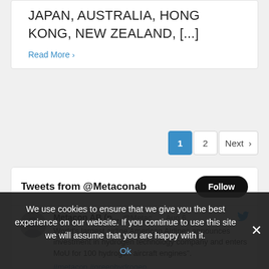JAPAN, AUSTRALIA, HONG KONG, NEW ZEALAND, [...]
Read More >
1  2  Next >
Tweets from @Metaconab
Follow
Metacon AB (p...   @Metac...   · Aug 6
World's largest airline American Airlines announces investment in hydrogen technology company and enters MoU for 100 hydrogen aircraft engines". #metacon #greenhydrogen
We use cookies to ensure that we give you the best experience on our website. If you continue to use this site we will assume that you are happy with it. Ok